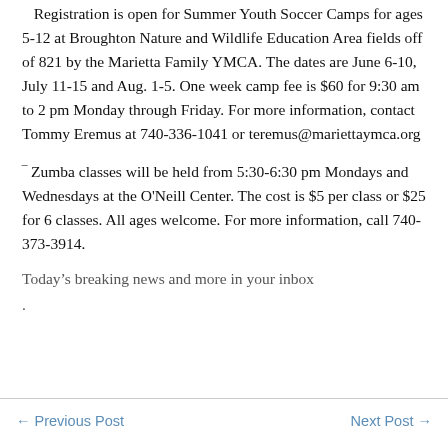Registration is open for Summer Youth Soccer Camps for ages 5-12 at Broughton Nature and Wildlife Education Area fields off of 821 by the Marietta Family YMCA. The dates are June 6-10, July 11-15 and Aug. 1-5. One week camp fee is $60 for 9:30 am to 2 pm Monday through Friday. For more information, contact Tommy Eremus at 740-336-1041 or teremus@mariettaymca.org
— Zumba classes will be held from 5:30-6:30 pm Mondays and Wednesdays at the O'Neill Center. The cost is $5 per class or $25 for 6 classes. All ages welcome. For more information, call 740-373-3914.
Today's breaking news and more in your inbox
.
← Previous Post    Next Post →